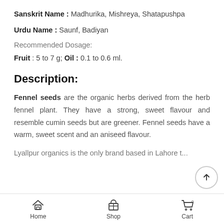Sanskrit Name : Madhurika, Mishreya, Shatapushpa
Urdu Name : Saunf, Badiyan
Recommended Dosage:
Fruit : 5 to 7 g; Oil : 0.1 to 0.6 ml.
Description:
Fennel seeds are the organic herbs derived from the herb fennel plant. They have a strong, sweet flavour and resemble cumin seeds but are greener. Fennel seeds have a warm, sweet scent and an aniseed flavour.
Lyallpur organics is the only brand based in Lahore that...
Home  Shop  Cart